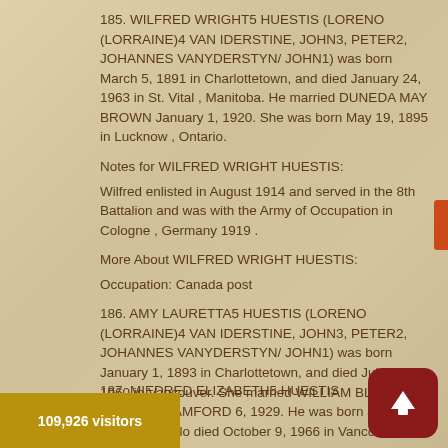185. WILFRED WRIGHT5 HUESTIS (LORENO (LORRAINE)4 VAN IDERSTINE, JOHN3, PETER2, JOHANNES VANYDERSTYN/ JOHN1) was born March 5, 1891 in Charlottetown, and died January 24, 1963 in St. Vital , Manitoba. He married DUNEDA MAY BROWN January 1, 1920. She was born May 19, 1895 in Lucknow , Ontario.
Notes for WILFRED WRIGHT HUESTIS:
Wilfred enlisted in August 1914 and served in the 8th Battalion and was with the Army of Occupation in Cologne , Germany 1919 .
More About WILFRED WRIGHT HUESTIS:
Occupation: Canada post
186. AMY LAURETTA5 HUESTIS (LORENO (LORRAINE)4 VAN IDERSTINE, JOHN3, PETER2, JOHANNES VANYDERSTYN/ JOHN1) was born January 1, 1893 in Charlottetown, and died July 21, 1960 in Vancouver. She married WILLIAM BLACKLEY STANLEY BAMFORD 6, 1929. He was born January 24, 1890 in Elo died October 9, 1966 in Vancouver.
187. MIEDRED ELIZABETH5 HUESTIS (LORENO
109,926 visitors